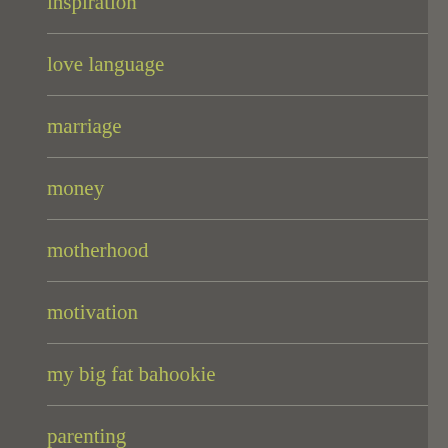inspiration
love language
marriage
money
motherhood
motivation
my big fat bahookie
parenting
refresh
relationship
run